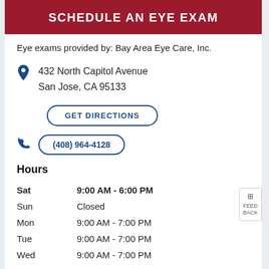SCHEDULE AN EYE EXAM
Eye exams provided by: Bay Area Eye Care, Inc.
432 North Capitol Avenue
San Jose, CA 95133
GET DIRECTIONS
(408) 964-4128
Hours
| Day | Hours |
| --- | --- |
| Sat | 9:00 AM - 6:00 PM |
| Sun | Closed |
| Mon | 9:00 AM - 7:00 PM |
| Tue | 9:00 AM - 7:00 PM |
| Wed | 9:00 AM - 7:00 PM |